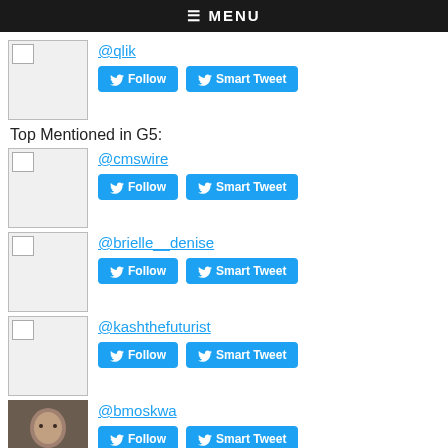≡ MENU
@qlik
Follow | Smart Tweet
Top Mentioned in G5:
@cmswire
Follow | Smart Tweet
@brielle__denise
Follow | Smart Tweet
@kashthefuturist
Follow | Smart Tweet
@bmoskwa
Follow | Smart Tweet
@marshacollier
Follow | Smart Tweet
@billquiseng
Follow | Smart Tweet